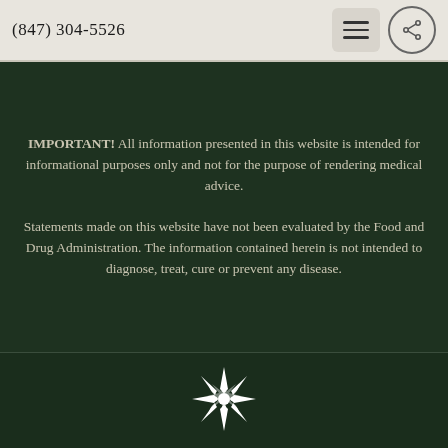(847) 304-5526
IMPORTANT! All information presented in this website is intended for informational purposes only and not for the purpose of rendering medical advice.
Statements made on this website have not been evaluated by the Food and Drug Administration. The information contained herein is not intended to diagnose, treat, cure or prevent any disease.
[Figure (logo): Decorative white star/snowflake ornamental logo mark]